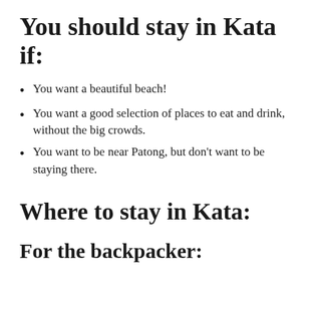You should stay in Kata if:
You want a beautiful beach!
You want a good selection of places to eat and drink, without the big crowds.
You want to be near Patong, but don't want to be staying there.
Where to stay in Kata:
For the backpacker: